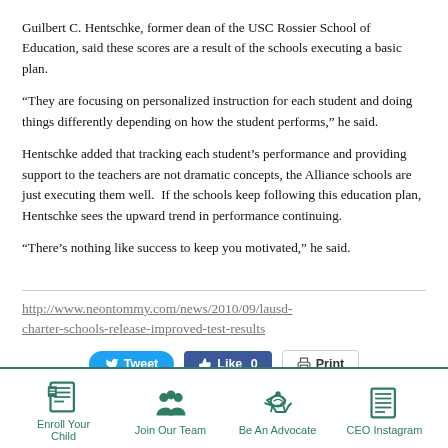Guilbert C. Hentschke, former dean of the USC Rossier School of Education, said these scores are a result of the schools executing a basic plan.
“They are focusing on personalized instruction for each student and doing things differently depending on how the student performs,” he said.
Hentschke added that tracking each student’s performance and providing support to the teachers are not dramatic concepts, the Alliance schools are just executing them well.  If the schools keep following this education plan, Hentschke sees the upward trend in performance continuing.
“There’s nothing like success to keep you motivated,” he said.
http://www.neontommy.com/news/2010/09/lausd-charter-schools-release-improved-test-results
[Figure (other): Social sharing buttons: Tweet, Like 0, Print]
Enroll Your Child | Join Our Team | Be An Advocate | CEO Instagram